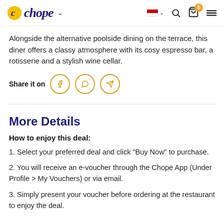chope
Alongside the alternative poolside dining on the terrace, this diner offers a classy atmosphere with its cosy espresso bar, a rotisserie and a stylish wine cellar.
Share it on
More Details
How to enjoy this deal:
1. Select your preferred deal and click "Buy Now" to purchase.
2. You will receive an e-voucher through the Chope App (Under Profile > My Vouchers) or via email.
3. Simply present your voucher before ordering at the restaurant to enjoy the deal.